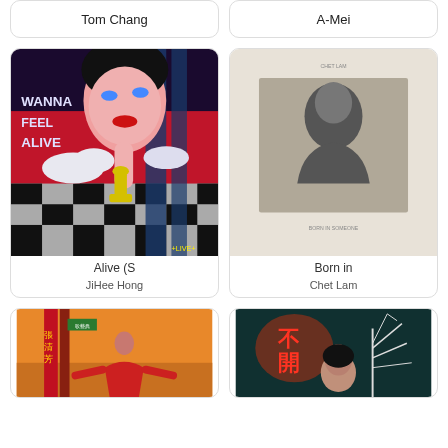Tom Chang
A-Mei
[Figure (illustration): Album art for 'Alive (S' by JiHee Hong — cartoon illustration of a pink-skinned anime woman with red lips touching a yellow chess queen piece on a black-and-white checkered floor with clouds, dark blue streaks, red background. Text: 'WANNA FEEL ALIVE +LIVE+']
Alive (S
JiHee Hong
[Figure (photo): Album art for 'Born in' by Chet Lam — black and white photo of a young man looking down, beige/cream background, small text at top and bottom]
Born in
Chet Lam
[Figure (photo): Album art — woman in red outfit standing with arms spread on orange/desert background with Chinese characters and red vertical banners, text 張清芳]
[Figure (photo): Album art — woman with Chinese text 不開花 in red neon, white tree branches, dark teal background, warm/cinematic tone]